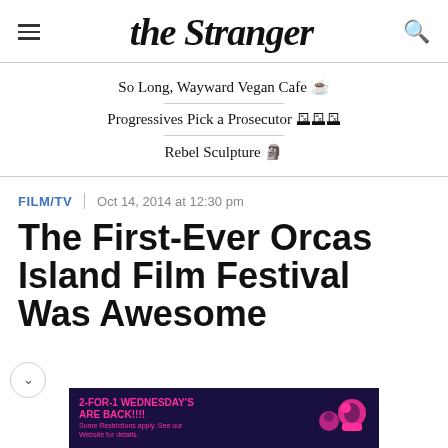the Stranger
So Long, Wayward Vegan Cafe ☕
Progressives Pick a Prosecutor 🗳️
Rebel Sculpture 🗿
FILM/TV | Oct 14, 2014 at 12:30 pm
The First-Ever Orcas Island Film Festival Was Awesome
[Figure (photo): Advertisement banner: dark purple background with pink text reading '2-FOR-1 WEDNESDAY'S ARE BACK!!!! Some Restrictions apply. See our Website for details.' with cartoon character graphics in pink/magenta.]